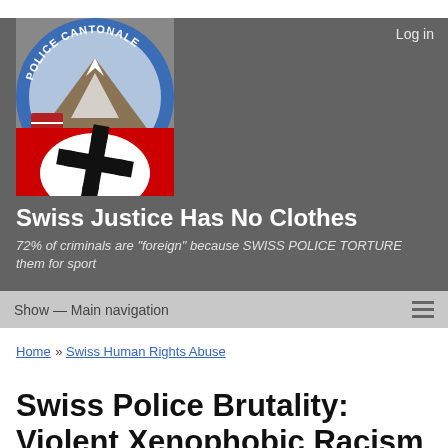Log in
[Figure (photo): A police badge reading 'POLICE CANTONALE' overlaid with a swastika symbol on a red and white background]
Swiss Justice Has No Clothes
72% of criminals are "foreign" because SWISS POLICE TORTURE them for sport
Show — Main navigation
Home » Swiss Human Rights Abuse
Swiss Police Brutality: Violent Xenophobic Racism